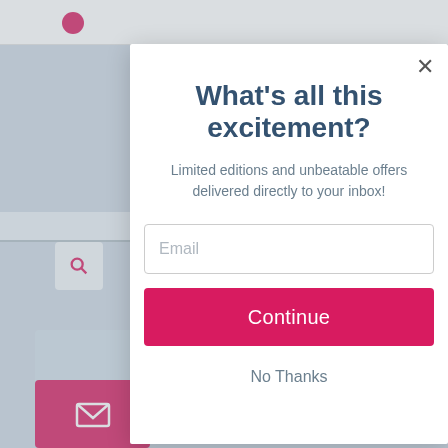[Figure (screenshot): Website background showing a navigation bar, search icon, and partially visible page content behind a modal overlay]
What's all this excitement?
Limited editions and unbeatable offers delivered directly to your inbox!
Email
Continue
No Thanks